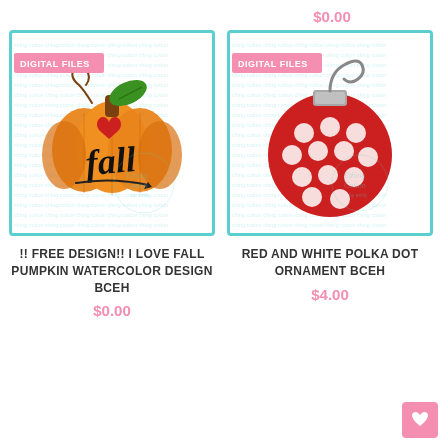$0.00
[Figure (illustration): Watercolor pumpkin with word 'fall' in script, green leaf, brown stem, red heart, decorative swirl. Pink 'DIGITAL FILES' banner top-left. Watermark text background.]
!! FREE DESIGN!! I LOVE FALL PUMPKIN WATERCOLOR DESIGN BCEH
$0.00
[Figure (illustration): Red and white polka dot Christmas ornament with gray cap and curly wire hook. Pink 'DIGITAL FILES' banner top-left. Watermark text background.]
RED AND WHITE POLKA DOT ORNAMENT BCEH
$4.00